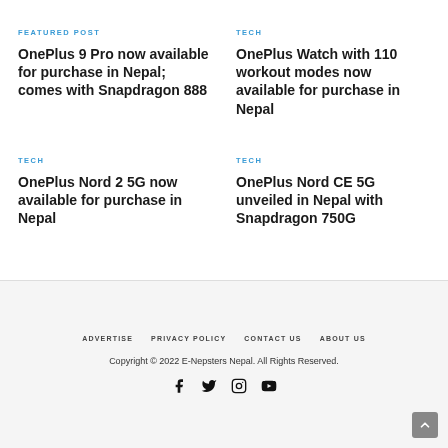FEATURED POST
OnePlus 9 Pro now available for purchase in Nepal; comes with Snapdragon 888
TECH
OnePlus Watch with 110 workout modes now available for purchase in Nepal
TECH
OnePlus Nord 2 5G now available for purchase in Nepal
TECH
OnePlus Nord CE 5G unveiled in Nepal with Snapdragon 750G
ADVERTISE   PRIVACY POLICY   CONTACT US   ABOUT US
Copyright © 2022 E-Nepsters Nepal. All Rights Reserved.